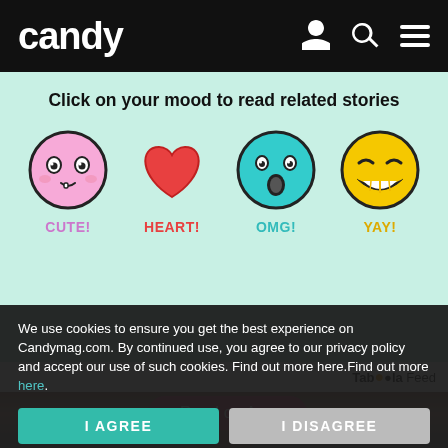candy
Click on your mood to read related stories
[Figure (illustration): Four mood icons in a row: a pink cute kawaii face circle, a red heart, a teal OMG face circle, and a yellow smiley face circle, each with a colored label below: CUTE!, HEART!, OMG!, YAY!]
Taboola Feed
[Figure (photo): Partial photo of a woman with brown hair, blurred background, in the lower portion of the page]
Read on App
We use cookies to ensure you get the best experience on Candymag.com. By continued use, you agree to our privacy policy and accept our use of such cookies. Find out more here.Find out more here.
I AGREE
I DISAGREE